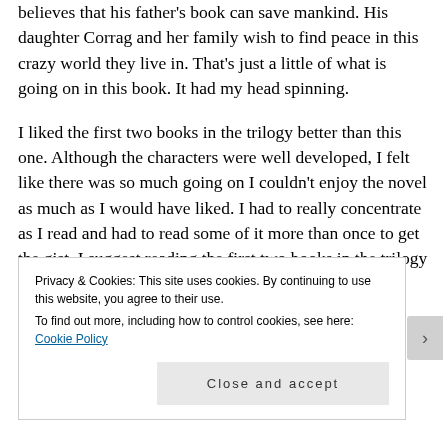believes that his father's book can save mankind. His daughter Corrag and her family wish to find peace in this crazy world they live in. That's just a little of what is going on in this book. It had my head spinning.
I liked the first two books in the trilogy better than this one. Although the characters were well developed, I felt like there was so much going on I couldn't enjoy the novel as much as I would have liked. I had to really concentrate as I read and had to read some of it more than once to get the gist. I suggest reading the first two books in the trilogy in order to understand Augmentation and the
Privacy & Cookies: This site uses cookies. By continuing to use this website, you agree to their use.
To find out more, including how to control cookies, see here: Cookie Policy
Close and accept